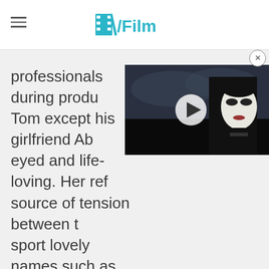/Film
[Figure (screenshot): Video player overlay showing a dark-themed movie still with a character in white face paint, with a play button in the center. A close (X) button appears at the top right.]
professionals during produ... Tom except his girlfriend Ab... eyed and life-loving. Her ref... source of tension between t... sport lovely names such as Gash (Peter Whitting), Chopped Meat (Miles Greenwood), Hatchet (Denis Gilmore), and Hinky (Rocky Taylor).